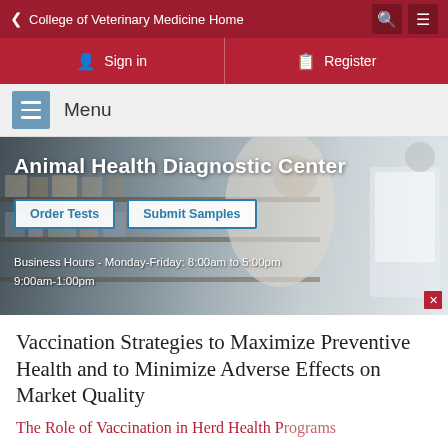< College of Veterinary Medicine Home
Sign in   Register
Menu
[Figure (photo): Laboratory scene with a person in white coat working among shelves of supplies. Overlaid text: 'Animal Health Diagnostic Center', two buttons 'Order Tests' and 'Submit Samples', and 'Business Hours - Monday-Friday: 8:00am to 5:00pm 9:00am-1:00pm'.]
Vaccination Strategies to Maximize Preventive Health and to Minimize Adverse Effects on Market Quality
The Role of Vaccination in Herd Health Programs